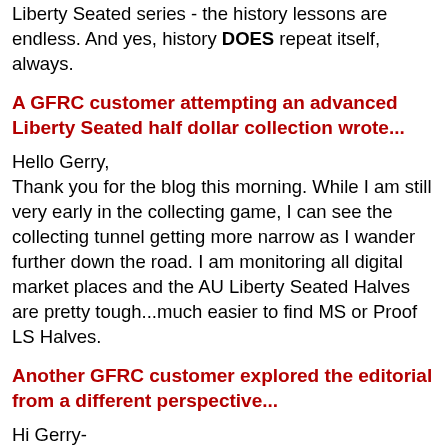Liberty Seated series - the history lessons are endless. And yes, history DOES repeat itself, always.
A GFRC customer attempting an advanced Liberty Seated half dollar collection wrote...
Hello Gerry,
Thank you for the blog this morning. While I am still very early in the collecting game, I can see the collecting tunnel getting more narrow as I wander further down the road. I am monitoring all digital market places and the AU Liberty Seated Halves are pretty tough...much easier to find MS or Proof LS Halves.
Another GFRC customer explored the editorial from a different perspective...
Hi Gerry-
Your writing this morning gets the blue ribbon in my book- just jumps off the page! Those are the ways that I was trained to think about things as a Sociology major back at Penn State in the late '70s. PA is known as a 'Commonwealth' - a fine